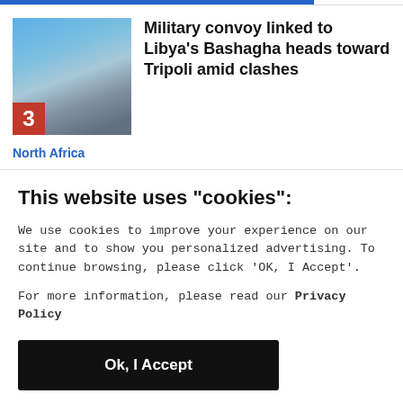[Figure (photo): News article thumbnail showing a street scene with vehicles and people, with a red badge showing number 3 in the bottom-left corner.]
Military convoy linked to Libya's Bashagha heads toward Tripoli amid clashes
North Africa
This website uses "cookies":
We use cookies to improve your experience on our site and to show you personalized advertising. To continue browsing, please click 'OK, I Accept'.
For more information, please read our Privacy Policy
Ok, I Accept